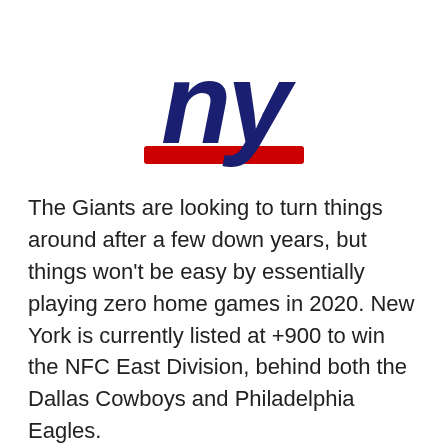[Figure (logo): New York Giants NFL team logo — stylized lowercase 'ny' in dark navy blue with red underline bar]
The Giants are looking to turn things around after a few down years, but things won't be easy by essentially playing zero home games in 2020. New York is currently listed at +900 to win the NFC East Division, behind both the Dallas Cowboys and Philadelphia Eagles.
The odds for the Giants will likely lower with this recent announcement, and it's hard to see them passing those other two teams.